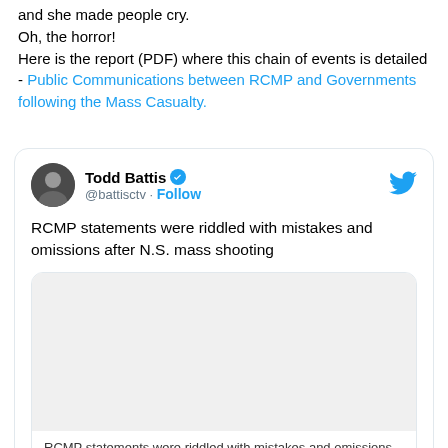and she made people cry.
Oh, the horror!
Here is the report (PDF) where this chain of events is detailed - Public Communications between RCMP and Governments following the Mass Casualty.
[Figure (screenshot): Embedded tweet from @battisctv (Todd Battis, verified) with text 'RCMP statements were riddled with mistakes and omissions after N.S. mass shooting', containing an inner card with article preview and link https://t.co/xtVqvTRHVB]